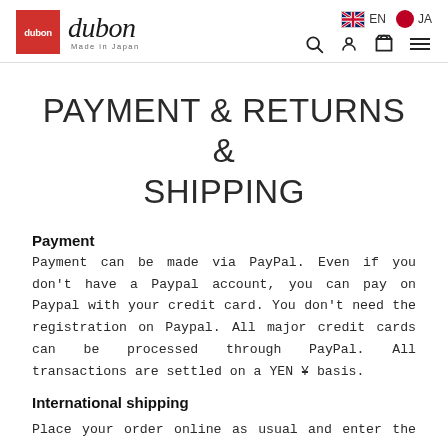dubon — Made in Japan | EN | JA | Search | Account | Cart | Menu
PAYMENT & RETURNS & SHIPPING
Payment
Payment can be made via PayPal. Even if you don't have a Paypal account, you can pay on Paypal with your credit card. You don't need the registration on Paypal. All major credit cards can be processed through PayPal. All transactions are settled on a YEN ¥ basis.
International shipping
Place your order online as usual and enter the overseas